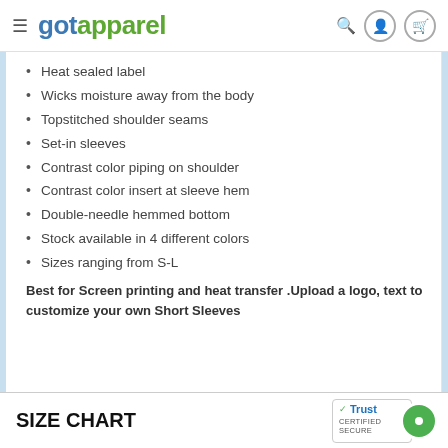gotapparel
Heat sealed label
Wicks moisture away from the body
Topstitched shoulder seams
Set-in sleeves
Contrast color piping on shoulder
Contrast color insert at sleeve hem
Double-needle hemmed bottom
Stock available in 4 different colors
Sizes ranging from S-L
Best for Screen printing and heat transfer .Upload a logo, text to customize your own Short Sleeves
SIZE CHART